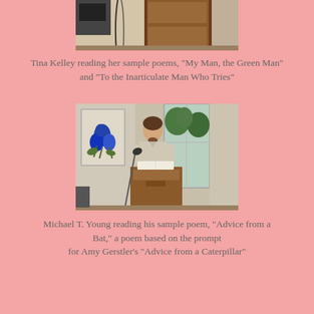[Figure (photo): Partial photo of a room with a wooden door and some cords/equipment visible at the top of the page]
Tina Kelley reading her sample poems, "My Man, the Green Man" and "To the Inarticulate Man Who Tries"
[Figure (photo): A man standing at a wooden podium reading from a book/paper, with a microphone in front of him, a blue flower artwork on the wall to his left, and windows with trees visible behind him]
Michael T. Young reading his sample poem, "Advice from a Bat," a poem based on the prompt for Amy Gerstler's "Advice from a Caterpillar"